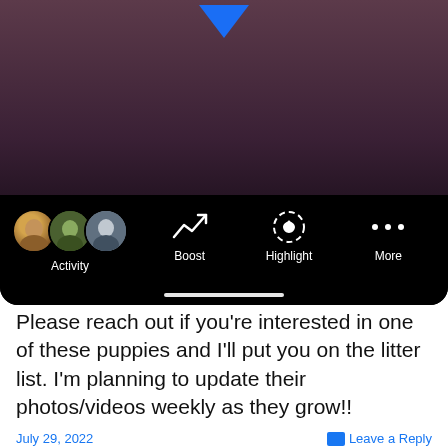[Figure (screenshot): Mobile app screenshot showing a dark purple/maroon background image with a blue downward arrow at the top, and a black bottom action bar with three circular profile avatars labeled 'Activity', and icons for 'Boost', 'Highlight', and 'More', plus a white home indicator bar.]
Please reach out if you're interested in one of these puppies and I'll put you on the litter list. I'm planning to update their photos/videos weekly as they grow!!
July 29, 2022
Leave a Reply